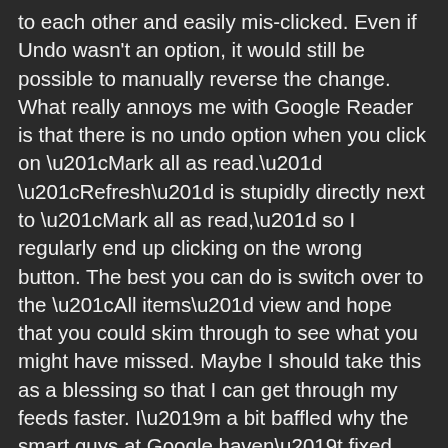to each other and easily mis-clicked. Even if Undo wasn't an option, it would still be possible to manually reverse the change. What really annoys me with Google Reader is that there is no undo option when you click on “Mark all as read.” “Refresh” is stupidly directly next to “Mark all as read,” so I regularly end up clicking on the wrong button. The best you can do is switch over to the “All items” view and hope that you could skim through to see what you might have missed. Maybe I should take this as a blessing so that I can get through my feeds faster. I’m a bit baffled why the smart guys at Google haven’t fixed these problems. Surely I’m not the only Google Reader annoyed by duplicate posts and the inability to undo a “Mark all as read” mis-click.